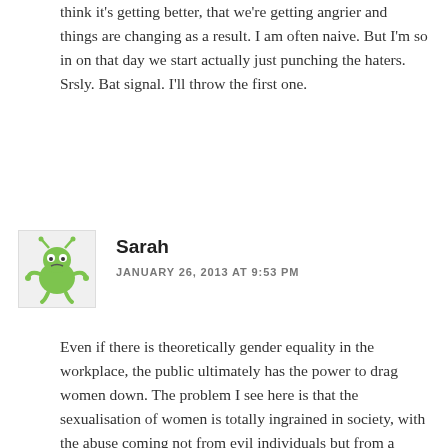think it's getting better, that we're getting angrier and things are changing as a result. I am often naive. But I'm so in on that day we start actually just punching the haters. Srsly. Bat signal. I'll throw the first one.
[Figure (illustration): Green cartoon monster/alien avatar icon on light gray background]
Sarah
JANUARY 26, 2013 AT 9:53 PM
Even if there is theoretically gender equality in the workplace, the public ultimately has the power to drag women down. The problem I see here is that the sexualisation of women is totally ingrained in society, with the abuse coming not from evil individuals but from a culture that takes these sexist values for granted. It's not just men doing it either – women are constantly picking